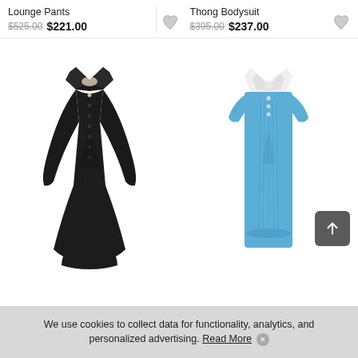Lounge Pants
$525.00 $221.00
Thong Bodysuit
$395.00 $237.00
[Figure (photo): Black long-sleeve ribbed polo mini dress with pointed collar and buttons]
[Figure (photo): Blue short-sleeve ribbed polo mini dress with white collar and buttons]
We use cookies to collect data for functionality, analytics, and personalized advertising. Read More